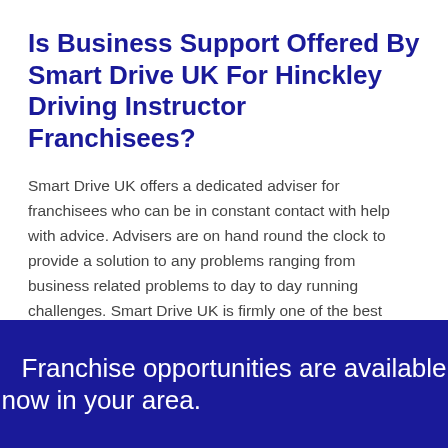Is Business Support Offered By Smart Drive UK For Hinckley Driving Instructor Franchisees?
Smart Drive UK offers a dedicated adviser for franchisees who can be in constant contact with help with advice. Advisers are on hand round the clock to provide a solution to any problems ranging from business related problems to day to day running challenges. Smart Drive UK is firmly one of the best options in Hinckley for driving instructor franchisees.
Franchise opportunities are available now in your area.